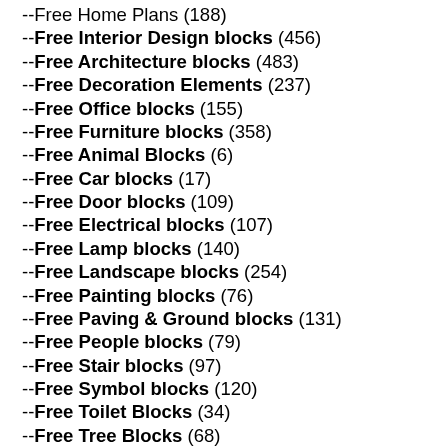--Free Home Plans (188)
--Free Interior Design blocks (456)
--Free Architecture blocks (483)
--Free Decoration Elements (237)
--Free Office blocks (155)
--Free Furniture blocks (358)
--Free Animal Blocks (6)
--Free Car blocks (17)
--Free Door blocks (109)
--Free Electrical blocks (107)
--Free Lamp blocks (140)
--Free Landscape blocks (254)
--Free Painting blocks (76)
--Free Paving & Ground blocks (131)
--Free People blocks (79)
--Free Stair blocks (97)
--Free Symbol blocks (120)
--Free Toilet Blocks (34)
--Free Tree Blocks (68)
--Free Window Blocks (142)